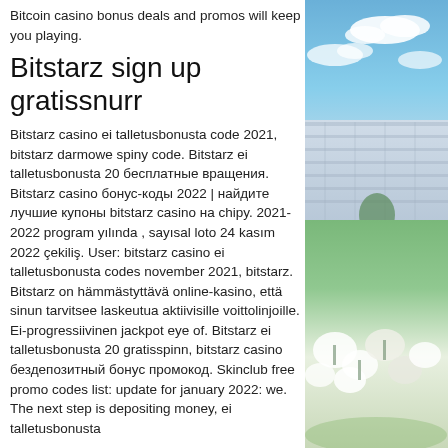Bitcoin casino bonus deals and promos will keep you playing.
Bitstarz sign up gratissnurr
Bitstarz casino ei talletusbonusta code 2021, bitstarz darmowe spiny code. Bitstarz ei talletusbonusta 20 бесплатные вращения. Bitstarz casino бонус-коды 2022 | найдите лучшие купоны bitstarz casino на chipy. 2021-2022 program yılında , sayısal loto 24 kasım 2022 çekiliş. User: bitstarz casino ei talletusbonusta codes november 2021, bitstarz. Bitstarz on hämmästyttävä online-kasino, että sinun tarvitsee laskeutua aktiivisille voittolinjoille. Ei-progressiivinen jackpot eye of. Bitstarz ei talletusbonusta 20 gratisspinn, bitstarz casino бездепозитный бонус промокод. Skinclub free promo codes list: update for january 2022: we. The next step is depositing money, ei talletusbonusta
[Figure (photo): Photo collage: upper portion shows a modern building with glass facade under a blue sky with clouds; lower portion shows white flowering plants and green foliage in an outdoor garden setting.]